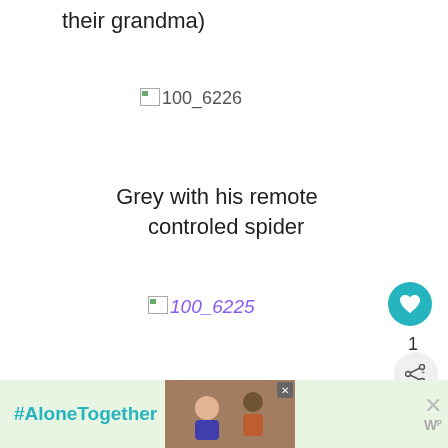their grandma)
[Figure (photo): Broken image placeholder labeled 100_6226]
Grey with his remote controled spider
[Figure (photo): Broken image placeholder labeled 100_6225 (italic purple text)]
1
Keagan playing with his hovercraft (horrible blurry
WHAT'S NEXT → Breaks my heart
#AloneTogether
[Figure (photo): Advertisement photo showing two people on a video call]